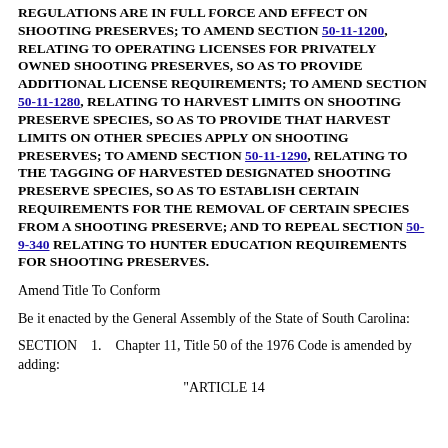REGULATIONS ARE IN FULL FORCE AND EFFECT ON SHOOTING PRESERVES; TO AMEND SECTION 50-11-1200, RELATING TO OPERATING LICENSES FOR PRIVATELY OWNED SHOOTING PRESERVES, SO AS TO PROVIDE ADDITIONAL LICENSE REQUIREMENTS; TO AMEND SECTION 50-11-1280, RELATING TO HARVEST LIMITS ON SHOOTING PRESERVE SPECIES, SO AS TO PROVIDE THAT HARVEST LIMITS ON OTHER SPECIES APPLY ON SHOOTING PRESERVES; TO AMEND SECTION 50-11-1290, RELATING TO THE TAGGING OF HARVESTED DESIGNATED SHOOTING PRESERVE SPECIES, SO AS TO ESTABLISH CERTAIN REQUIREMENTS FOR THE REMOVAL OF CERTAIN SPECIES FROM A SHOOTING PRESERVE; AND TO REPEAL SECTION 50-9-340 RELATING TO HUNTER EDUCATION REQUIREMENTS FOR SHOOTING PRESERVES.
Amend Title To Conform
Be it enacted by the General Assembly of the State of South Carolina:
SECTION    1.    Chapter 11, Title 50 of the 1976 Code is amended by adding:
"ARTICLE 14